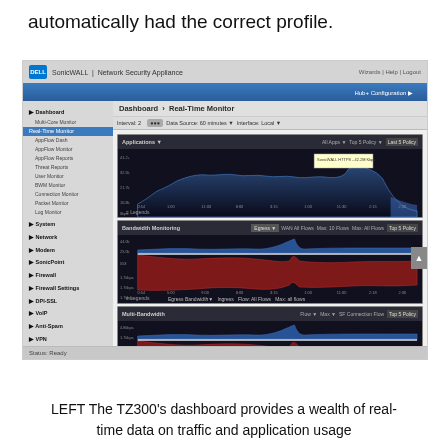automatically had the correct profile.
[Figure (screenshot): Dell SonicWALL Network Security Appliance dashboard showing Real-Time Monitor with three stacked area/line charts displaying network traffic and application usage data over time. Left sidebar shows navigation menu items. Charts show dark blue and red waveforms representing network bandwidth usage.]
LEFT The TZ300's dashboard provides a wealth of real-time data on traffic and application usage